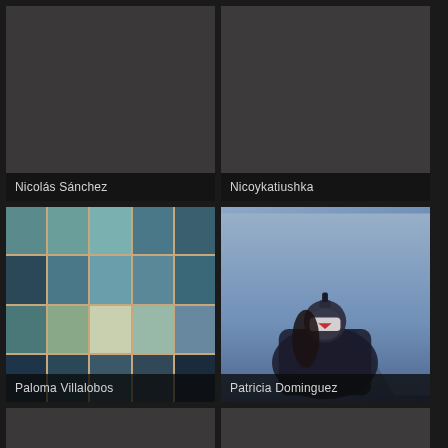[Figure (photo): Dark/grey placeholder image for Nicolás Sánchez with name label at bottom]
Nicolás Sánchez
[Figure (photo): Dark/grey placeholder image for Nicoykatiushka with name label at bottom]
Nicoykatiushka
[Figure (photo): Grid of ocean/sea landscape tiles in blue and teal tones for Paloma Villalobos]
Paloma Villalobos
[Figure (photo): Figure wearing mask against blue/purple mountain background for Patricia Dominguez]
Patricia Dominguez
[Figure (photo): Dark/grey placeholder image, partially visible at bottom]
[Figure (photo): Dark/grey placeholder image, partially visible at bottom]